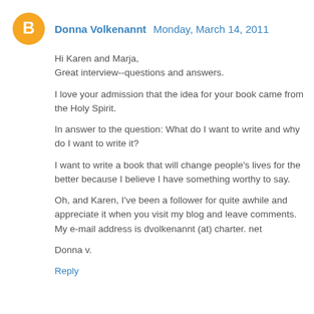Donna Volkenannt Monday, March 14, 2011
Hi Karen and Marja,
Great interview--questions and answers.

I love your admission that the idea for your book came from the Holy Spirit.

In answer to the question: What do I want to write and why do I want to write it?

I want to write a book that will change people's lives for the better because I believe I have something worthy to say.

Oh, and Karen, I've been a follower for quite awhile and appreciate it when you visit my blog and leave comments. My e-mail address is dvolkenannt (at) charter. net

Donna v.
Reply